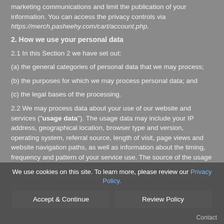marketing communications and limit the publication of your information. You can access the privacy controls via https://merch.pasheehy.com/cart/account.php.
2. How we use your personal data
2.1 In this Section 2 we have set out:
(a) the general categories of personal data that we may process;
(b) the purposes for which we may process personal data; and
(c) the legal bases of the processing.
2.2 We may process data about your use of our website and services ("usage data"). The usage data may include your IP address, geographical location, browser type and version, operating system, referral source, length of visit, page views and website navigation paths, as well as information about the timing, frequency and pattern of your service use. The source of the usage data is our analytics tracking system. This usage data may be processed for the purposes of analysing the use of the website and services as well as to authenticate you as a user of our site. The legal basis for this processing is our legitimate interests, namely monitoring
We use cookies on this site. To learn more, please review our Privacy Policy.
Accept & Continue | Review Policy